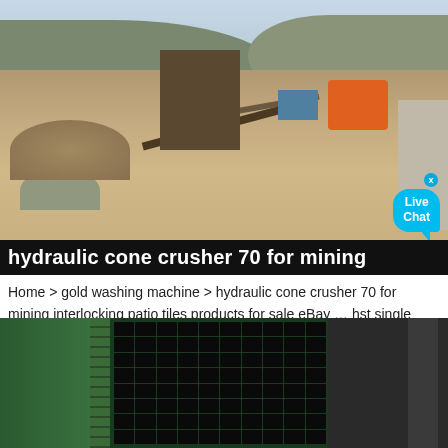[Figure (photo): Open-pit mining site with heavy equipment, conveyor structures, and excavated terrain with hills in background]
hydraulic cone crusher 70 for mining
Home > gold washing machine > hydraulic cone crusher 70 for mining interlocking patio tiles products for sale eBay ... hst single cylinder hydraulic cone crusher cone thickener bowl liners a brand granite gyratory mining pring cone crusher finlay c1550 cone ...
[Figure (photo): Close-up of green industrial machinery with perforated black panel/grid, likely cone crusher components]